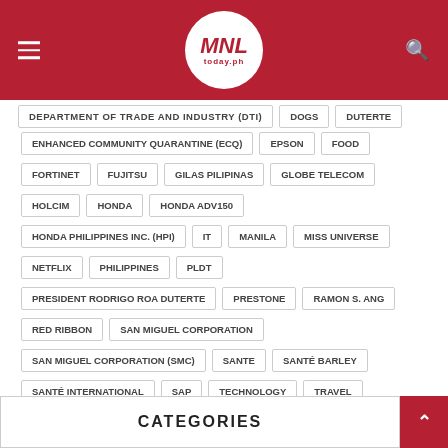MNL today.ph
DEPARTMENT OF TRADE AND INDUSTRY (DTI)
DOGS
DUTERTE
ENHANCED COMMUNITY QUARANTINE (ECQ)
EPSON
FOOD
FORTINET
FUJITSU
GILAS PILIPINAS
GLOBE TELECOM
HOLCIM
HONDA
HONDA ADV150
HONDA PHILIPPINES INC. (HPI)
IT
MANILA
MISS UNIVERSE
NETFLIX
PHILIPPINES
PLDT
PRESIDENT RODRIGO ROA DUTERTE
PRESTONE
RAMON S. ANG
RED RIBBON
SAN MIGUEL CORPORATION
SAN MIGUEL CORPORATION (SMC)
SANTE
SANTÉ BARLEY
SANTÉ INTERNATIONAL
SAP
TECHNOLOGY
TRAVEL
CATEGORIES